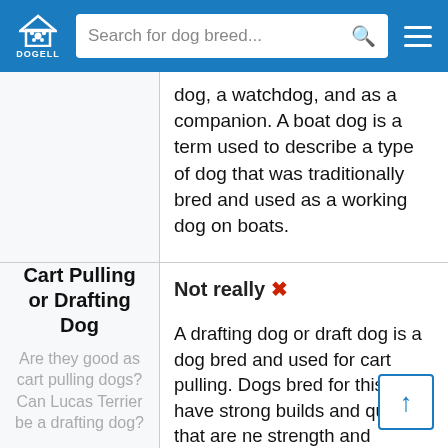DOGELL | Search for dog breed...
dog, a watchdog, and as a companion. A boat dog is a term used to describe a type of dog that was traditionally bred and used as a working dog on boats.
Cart Pulling or Drafting Dog
Are they good as cart pulling dogs? Can Lucas Terrier be a drafting dog?
Not really ✗

A drafting dog or draft dog is a dog bred and used for cart pulling. Dogs bred for this work have strong builds and qualities that are necessary such as strength and determination.